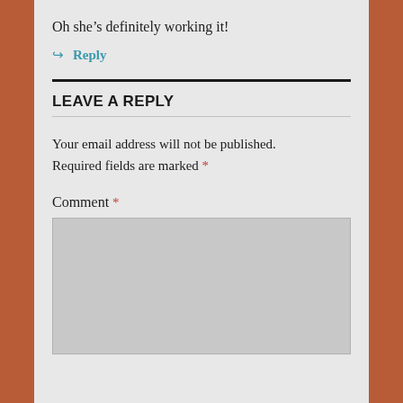Oh she’s definitely working it!
↪ Reply
LEAVE A REPLY
Your email address will not be published. Required fields are marked *
Comment *